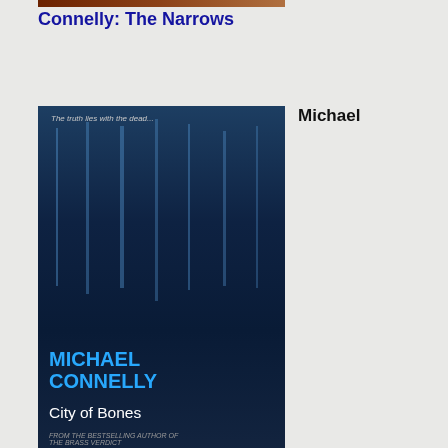[Figure (photo): Top partial book cover image (The Narrows by Michael Connelly), cropped]
Connelly: The Narrows
[Figure (photo): Book cover: Michael Connelly - City of Bones, dark blue background with trees]
Michael
Connelly: City Of Bones
[Figure (photo): Book cover: Michael Connelly - The Poet, dark blue with forest silhouette]
Michael
Connelly: The Poet
[Figure (photo): Partial book cover at bottom, warm golden tones]
Michael
is
gui
of
wh
It
rep
yo
atte
ho
an
we
en
up
wit
a
twi
in
the
tail
in
the
fina
cha